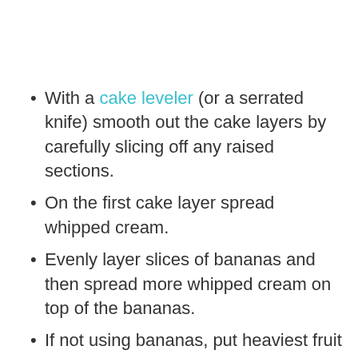With a cake leveler (or a serrated knife) smooth out the cake layers by carefully slicing off any raised sections.
On the first cake layer spread whipped cream.
Evenly layer slices of bananas and then spread more whipped cream on top of the bananas.
If not using bananas, put heaviest fruit on this bottom layer so finished cake will have more stability.
Add cake layer number two and layer